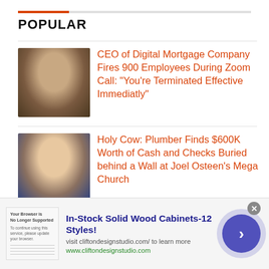POPULAR
[Figure (photo): Headshot of a man in a dark sweater smiling]
CEO of Digital Mortgage Company Fires 900 Employees During Zoom Call: “You’re Terminated Effective Immediatly”
[Figure (photo): Headshot of a man in a suit smiling against blue background]
Holy Cow: Plumber Finds $600K Worth of Cash and Checks Buried behind a Wall at Joel Osteen’s Mega Church
[Figure (photo): Headshot of a dark-skinned man against dark background]
Did You Know Boxer Floyd Mayweather Owns Nine Skyscrapers?
[Figure (screenshot): Advertisement for In-Stock Solid Wood Cabinets-12 Styles from cliftondesignstudio.com]